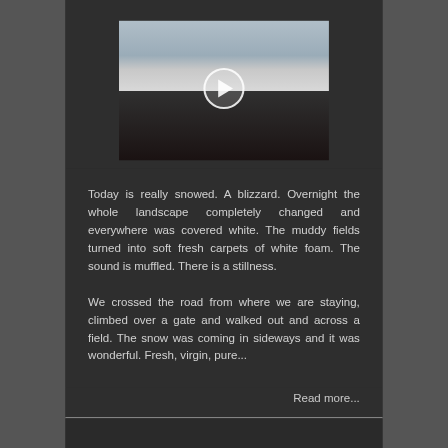[Figure (photo): Video thumbnail showing a person in a black coat with arms outstretched in a snowy field with a play button overlay]
Today is really snowed. A blizzard. Overnight the whole landscape completely changed and everywhere was covered white. The muddy fields turned into soft fresh carpets of white foam. The sound is muffled. There is a stillness.
We crossed the road from where we are staying, climbed over a gate and walked out and across a field. The snow was coming in sideways and it was wonderful. Fresh, virgin, pure...
Read more...
The George and Pilgrim Pub in Glastonbury